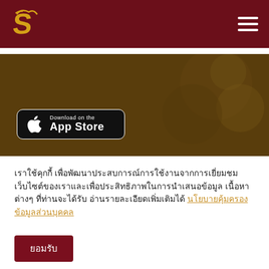Navigation header with dragon logo and hamburger menu
[Figure (screenshot): App Store download banner with dark overlay background showing a decorative image, with a 'Download on the App Store' button in the lower left]
เราใช้คุกกี้ เพื่อพัฒนาประสบการณ์การใช้งานจากการเยี่ยมชมเว็บไซต์ของเราและเพื่อประสิทธิภาพในการนำเสนอข้อมูล เนื้อหาต่างๆ ที่ท่านจะได้รับ อ่านรายละเอียดเพิ่มเติมได้ นโยบายคุ้มครองข้อมูลส่วนบุคคล
ยอมรับ